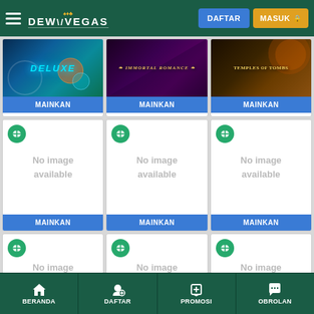DewVegas - DAFTAR - MASUK
[Figure (screenshot): Three game cards in top row: DELUXE (blue/teal background), IMMORTAL ROMANCE (dark purple background with golden text), TEMPLES of TOMBS (dark golden background) each with MAINKAN button]
[Figure (screenshot): Three game cards with Microgaming logo and No image available placeholder text, each with MAINKAN button]
[Figure (screenshot): Three game cards with Microgaming logo and No image available placeholder text, bottom row]
BERANDA  DAFTAR  PROMOSI  OBROLAN